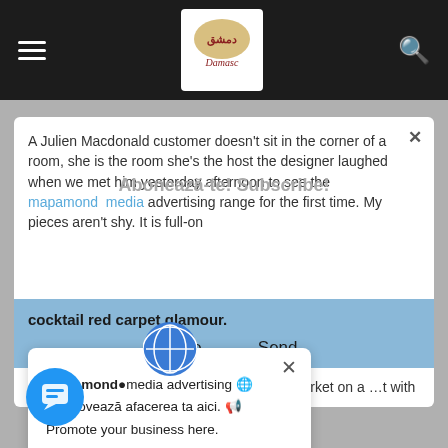Damasc app navigation bar with hamburger menu, logo, and search icon
A Julien Macdonald customer doesn't sit in the corner of a room, she is the room she's the host the designer laughed when we met him yesterday afternoon to see the mapamond media advertising range for the first time. My pieces aren't shy. It is full-on
Abonează-te! Subscribe!
cocktail red carpet glamour.
Trimite    Send
You don't nec...rily wear them to the supermarket on a ...t with my jewellery they
mapamond media advertising 🌐
Promovează afacerea ta aici. 📢
Promote your business here.